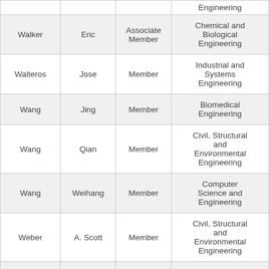| Last Name | First Name | Role | Department |
| --- | --- | --- | --- |
|  |  |  | Engineering |
| Walker | Eric | Associate Member | Chemical and Biological Engineering |
| Walteros | Jose | Member | Industrial and Systems Engineering |
| Wang | Jing | Member | Biomedical Engineering |
| Wang | Qian | Member | Civil, Structural and Environmental Engineering |
| Wang | Weihang | Member | Computer Science and Engineering |
| Weber | A. Scott | Member | Civil, Structural and Environmental Engineering |
| Wetherhold | Robert C. | Member | Mechanical and Aerospace Engineering |
|  |  |  | Civil, Structural |